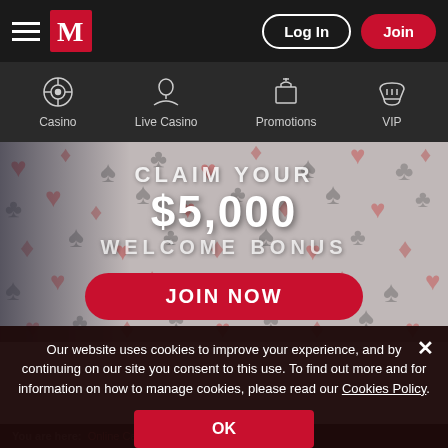M Log In Join
Casino  Live Casino  Promotions  VIP
[Figure (screenshot): Online casino hero banner with card suits pattern background. Text reads: CLAIM YOUR $5,000 WELCOME BONUS with a JOIN NOW button.]
Our website uses cookies to improve your experience, and by continuing on our site you consent to this use. To find out more and for information on how to manage cookies, please read our Cookies Policy.
OK
You are here: Online Casino > Videopoker